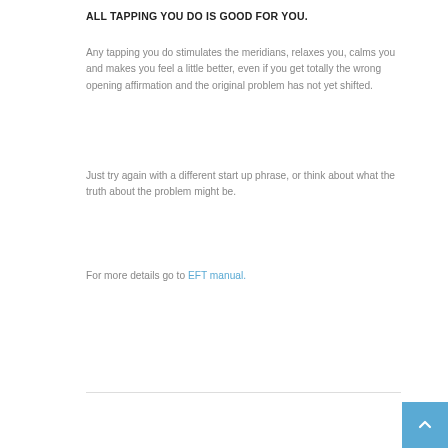ALL TAPPING YOU DO IS GOOD FOR YOU.
Any tapping you do stimulates the meridians, relaxes you, calms you and makes you feel a little better, even if you get totally the wrong opening affirmation and the original problem has not yet shifted.
Just try again with a different start up phrase, or think about what the truth about the problem might be.
For more details go to EFT manual.